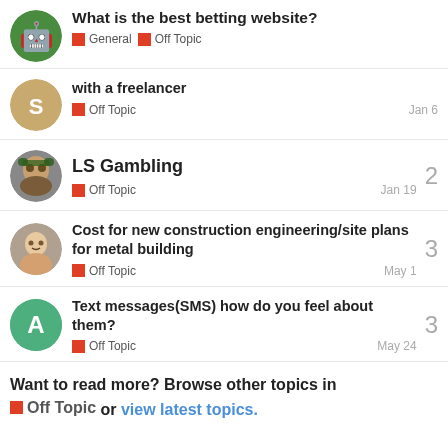What is the best betting website?
General | Off Topic
with a freelancer
Off Topic   Jan 6
LS Gambling
Off Topic   Jan 19
Cost for new construction engineering/site plans for metal building
Off Topic   May 1
Text messages(SMS) how do you feel about them?
Off Topic   May 24
Want to read more? Browse other topics in Off Topic or view latest topics.